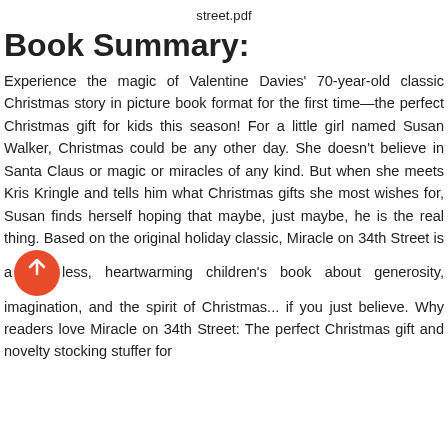street.pdf
Book Summary:
Experience the magic of Valentine Davies' 70-year-old classic Christmas story in picture book format for the first time—the perfect Christmas gift for kids this season! For a little girl named Susan Walker, Christmas could be any other day. She doesn't believe in Santa Claus or magic or miracles of any kind. But when she meets Kris Kringle and tells him what Christmas gifts she most wishes for, Susan finds herself hoping that maybe, just maybe, he is the real thing. Based on the original holiday classic, Miracle on 34th Street is a timeless, heartwarming children's book about generosity, imagination, and the spirit of Christmas... if you just believe. Why readers love Miracle on 34th Street: The perfect Christmas gift and novelty stocking stuffer for